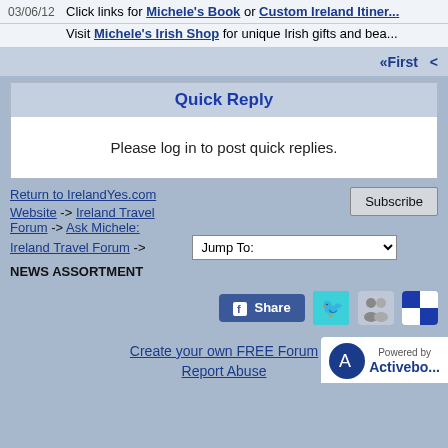03/06/12  Click links for Michele's Book or Custom Ireland Itiner...
Visit Michele's Irish Shop for unique Irish gifts and bea...
«First <
Quick Reply
Please log in to post quick replies.
Return to IrelandYes.com
Website -> Ireland Travel Forum -> Ask Michele: Ireland Travel Forum -> NEWS ASSORTMENT
[Figure (screenshot): Subscribe button, Jump To dropdown, Facebook Share button, Twitter bird icon, social sharing icons, Powered by Activeboard badge]
Create your own FREE Forum  Report Abuse